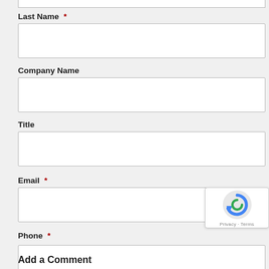Last Name *
Company Name
Title
Email *
Phone *
Add a Comment